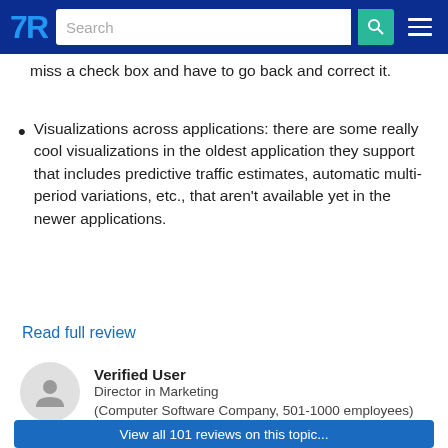TrustRadius – Search
miss a check box and have to go back and correct it.
Visualizations across applications: there are some really cool visualizations in the oldest application they support that includes predictive traffic estimates, automatic multi-period variations, etc., that aren't available yet in the newer applications.
Read full review
Verified User
Director in Marketing
(Computer Software Company, 501-1000 employees)